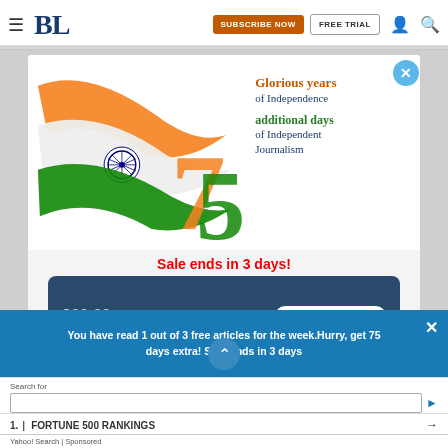BL | SUBSCRIBE NOW | FREE TRIAL
[Figure (illustration): Indian Independence Day promotional ad banner: Indian tricolor flag ribbon on left, large '75' numeral in orange/green, text 'Glorious years of Independence' and 'additional days of Independent Journalism' on right]
Sale ends in 3 days!
[Figure (infographic): Dark navy blue card with '75 DAYS EXTRA' pill button and strikethrough price $39.99]
You have read 1 out of 3 free articles for the week.Hurry, get 75 days extra! Sale Ends in 3 days
Search for
1. | FORTUNE 500 RANKINGS
Yahoo! Search | Sponsored